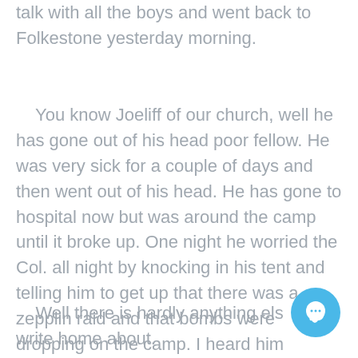talk with all the boys and went back to Folkestone yesterday morning.
You know Joeliff of our church, well he has gone out of his head poor fellow. He was very sick for a couple of days and then went out of his head. He has gone to hospital now but was around the camp until it broke up. One night he worried the Col. all night by knocking in his tent and telling him to get up that there was a zepplin raid and that bombs were dropping on the camp. I heard him clawing at my tent but let a holler out of me that scared him away. Poor old fellow, he has gone religously crazy.
Well there is hardly anything else write home about.